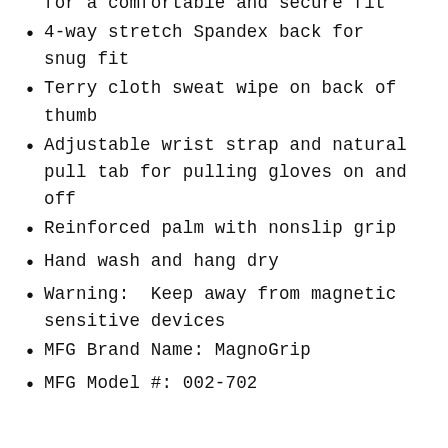Neoprene around wrist and knuckles for a comfortable and secure fit
4-way stretch Spandex back for snug fit
Terry cloth sweat wipe on back of thumb
Adjustable wrist strap and natural pull tab for pulling gloves on and off
Reinforced palm with nonslip grip
Hand wash and hang dry
Warning:  Keep away from magnetic sensitive devices
MFG Brand Name: MagnoGrip
MFG Model #: 002-702